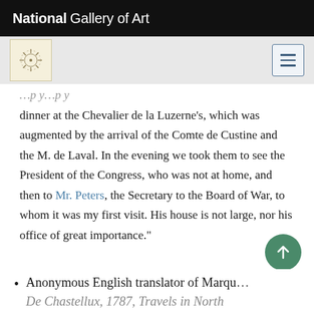National Gallery of Art
dinner at the Chevalier de la Luzerne's, which was augmented by the arrival of the Comte de Custine and the M. de Laval. In the evening we took them to see the President of the Congress, who was not at home, and then to Mr. Peters, the Secretary to the Board of War, to whom it was my first visit. His house is not large, nor his office of great importance."
Anonymous English translator of Marquis De Chastellux, 1787, Travels in North